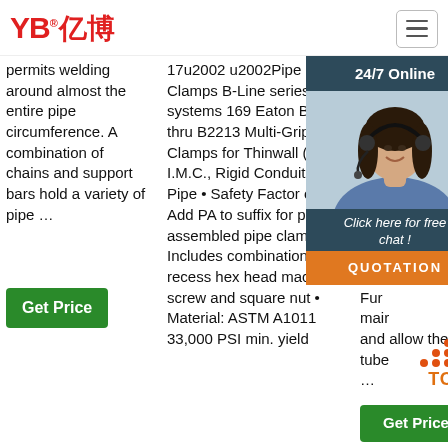[Figure (logo): YB亿博 logo in red with registered trademark symbol]
permits welding around almost the entire pipe circumference. A combination of chains and support bars hold a variety of pipe …
17u2002 u2002Pipe Clamps B-Line series strut systems 169 Eaton B2207 thru B2213 Multi-Grip Pipe Clamps for Thinwall (EMT), I.M.C., Rigid Conduit or Pipe • Safety Factor of 5 • Add PA to suffix for pre-assembled pipe clamps • Includes combination recess hex head machine screw and square nut • Material: ASTM A1011 33,000 PSI min. yield
2021-9-25 ... P st... Vin... Up clam whe clam requ supp wire hyd Fur main and allow the tube …
[Figure (photo): 24/7 Online chat widget with photo of woman wearing headset, Click here for free chat! text, and QUOTATION button in orange]
[Figure (other): TOP badge with red dot pattern above orange TOP text]
Get Price
Get Price